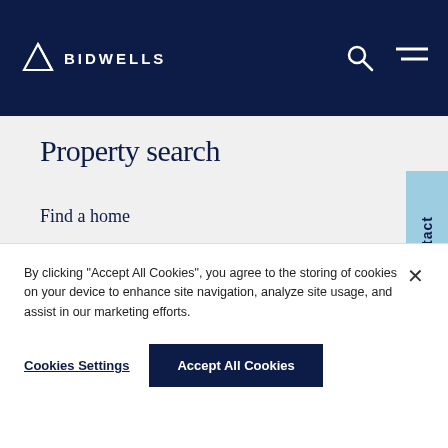[Figure (logo): Bidwells logo with triangle arrow icon and company name in white on dark navy header]
BIDWELLS
Property search
Find a home
Commercial Property
Land, Farms & Estates
Contact
By clicking "Accept All Cookies", you agree to the storing of cookies on your device to enhance site navigation, analyze site usage, and assist in our marketing efforts.
Cookies Settings
Accept All Cookies